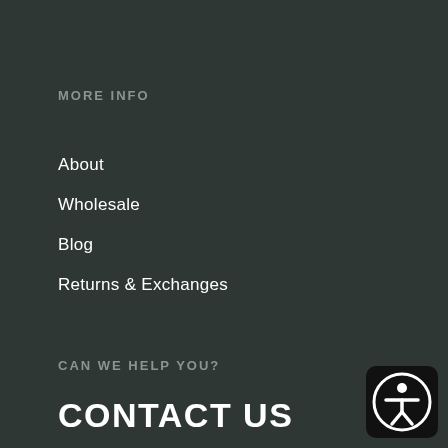MORE INFO
About
Wholesale
Blog
Returns & Exchanges
CAN WE HELP YOU?
CONTACT US
[Figure (illustration): Accessibility icon: person silhouette inside a circle, white on black rounded square background, bottom-right corner]